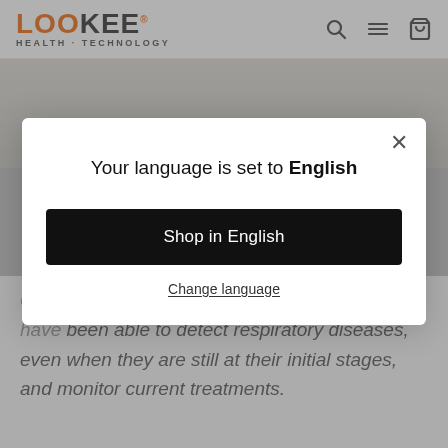LOOKEE HEALTH · TECHNOLOGY
[Figure (screenshot): Partial screenshot of a person lying in bed, visible from waist up, wearing light grey clothing on a light grey background]
Your language is set to English
Shop in English
Change language
Overnight oxygen saturation monitoring, doctors have been able to detect respiratory diseases, even when they are still at their initial stages, and monitor current treatments.